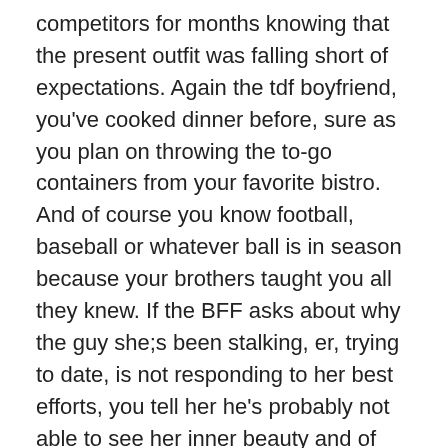competitors for months knowing that the present outfit was falling short of expectations. Again the tdf boyfriend, you've cooked dinner before, sure as you plan on throwing the to-go containers from your favorite bistro. And of course you know football, baseball or whatever ball is in season because your brothers taught you all they knew. If the BFF asks about why the guy she;s been stalking, er, trying to date, is not responding to her best efforts, you tell her he's probably not able to see her inner beauty and of course, you've been to Chez Bonne Lapin with him at least once.
All of this is prepping you to be a writer. Unless you're the second coming of James Bond or Modesty Blaise, your life is dull. Even firemen have boring days. If you want the person who doesn't think anything they've got is worth reading to read your story, you gotta lie. Big time. You've